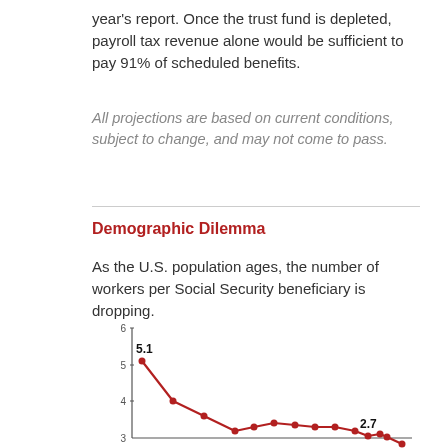year's report. Once the trust fund is depleted, payroll tax revenue alone would be sufficient to pay 91% of scheduled benefits.
All projections are based on current conditions, subject to change, and may not come to pass.
Demographic Dilemma
As the U.S. population ages, the number of workers per Social Security beneficiary is dropping.
[Figure (line-chart): Workers per Social Security Beneficiary]